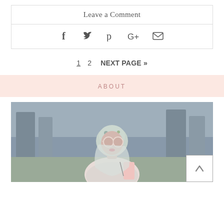Leave a Comment
[Figure (infographic): Social media share icons: Facebook (f), Twitter (bird), Pinterest (p), Google+ (G+), Email (envelope)]
1  2  NEXT PAGE »
ABOUT
[Figure (photo): Portrait photo of a woman wearing a floral hijab and round sunglasses, dressed in light pink, looking over her shoulder outdoors with blurred columns in the background.]